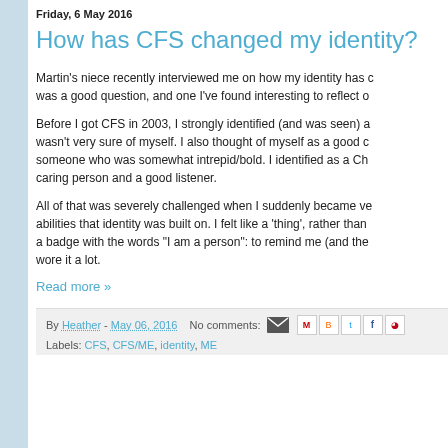Friday, 6 May 2016
How has CFS changed my identity?
Martin's niece recently interviewed me on how my identity has changed since I got CFS. It was a good question, and one I've found interesting to reflect on.
Before I got CFS in 2003, I strongly identified (and was seen) as someone who was confident but wasn't very sure of myself. I also thought of myself as a good communicator and as someone who was somewhat intrepid/bold. I identified as a Christian, as someone who was a caring person and a good listener.
All of that was severely challenged when I suddenly became very ill and lost many of the abilities that identity was built on. I felt like a 'thing', rather than a person. I actually made a badge with the words "I am a person": to remind me (and the medical professionals). I wore it a lot.
Read more »
By Heather - May 06, 2016   No comments:
Labels: CFS, CFS/ME, identity, ME